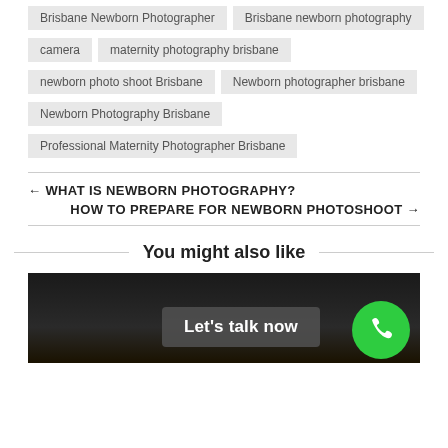Brisbane Newborn Photographer
Brisbane newborn photography
camera
maternity photography brisbane
newborn photo shoot Brisbane
Newborn photographer brisbane
Newborn Photography Brisbane
Professional Maternity Photographer Brisbane
← WHAT IS NEWBORN PHOTOGRAPHY?
HOW TO PREPARE FOR NEWBORN PHOTOSHOOT →
You might also like
[Figure (photo): Dark newborn photography image at bottom of page with Let's talk now CTA button and green phone button]